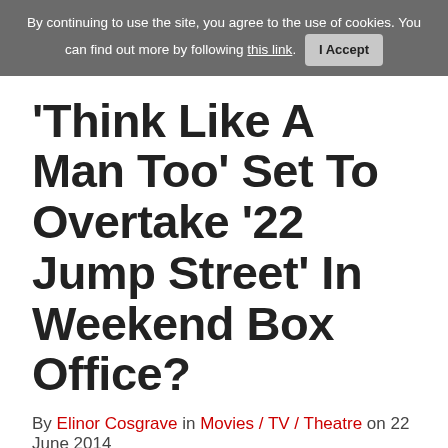By continuing to use the site, you agree to the use of cookies. You can find out more by following this link. I Accept
'Think Like A Man Too' Set To Overtake '22 Jump Street' In Weekend Box Office?
By Elinor Cosgrave in Movies / TV / Theatre on 22 June 2014
Kevin Hart
Jonah Hill
Channing Tatum
La La Anthony
Clint Eastwood
Adam Brody
'Think Like A Man Too' may